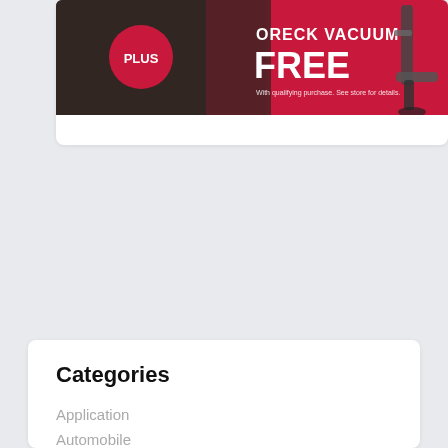[Figure (photo): Advertisement banner for Oreck Vacuum Free with qualifying purchase. Dark background with red section. PLUS circle logo on left. Text: ORECK VACUUM FREE. With qualifying purchase. See store for details. Vacuum image on right.]
Categories
Application
Automobile
Beauty
Business
Digital Marketing
Education